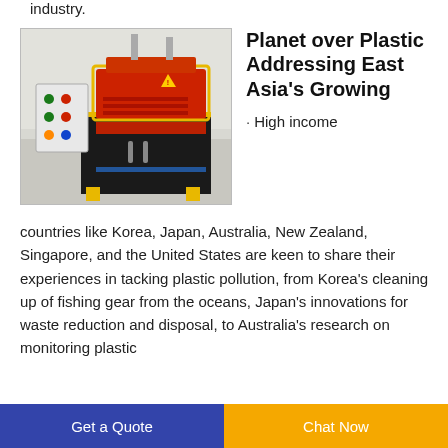industry.
[Figure (photo): A red and black industrial plastic recycling or cable stripping machine with a control panel on a white background.]
Planet over Plastic Addressing East Asia's Growing
· High income countries like Korea, Japan, Australia, New Zealand, Singapore, and the United States are keen to share their experiences in tacking plastic pollution, from Korea's cleaning up of fishing gear from the oceans, Japan's innovations for waste reduction and disposal, to Australia's research on monitoring plastic
Get a Quote   Chat Now